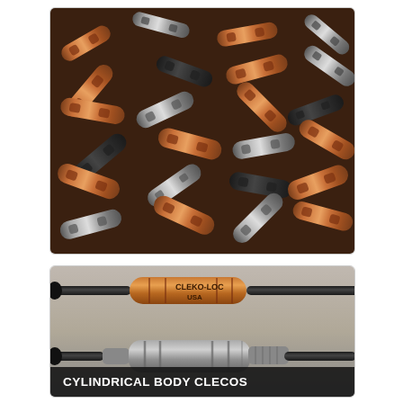[Figure (photo): Close-up photo of a large pile of cylindrical cleco fasteners in copper/bronze and silver metallic colors, randomly scattered and overlapping each other.]
[Figure (photo): Photo of two cylindrical body clecos shown close-up: one copper/bronze-colored with 'CLEKO-LOC USA' text printed on the body, and one silver/zinc-colored, both with black rod shafts. A dark label bar at the bottom reads 'CYLINDRICAL BODY CLECOS'.]